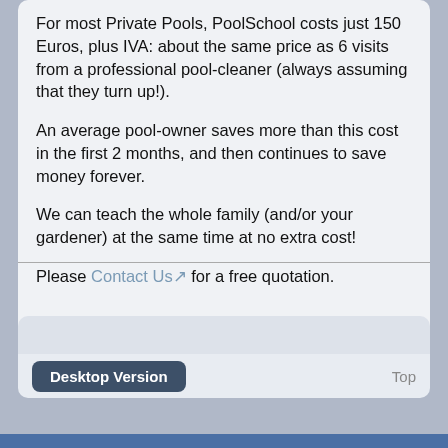For most Private Pools, PoolSchool costs just 150 Euros, plus IVA: about the same price as 6 visits from a professional pool-cleaner (always assuming that they turn up!).
An average pool-owner saves more than this cost in the first 2 months, and then continues to save money forever.
We can teach the whole family (and/or your gardener) at the same time at no extra cost!
Please Contact Us for a free quotation.
Desktop Version   Top